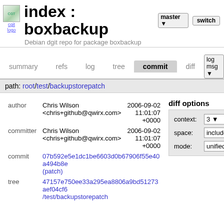index : boxbackup
Debian dgit repo for package boxbackup
summary   refs   log   tree   commit   diff   log msg
path: root/test/backupstorepatch
diff options
context: 3
space: include
mode: unified
| label | value | date |
| --- | --- | --- |
| author | Chris Wilson <chris+github@qwirx.com> | 2006-09-02 11:01:07 +0000 |
| committer | Chris Wilson <chris+github@qwirx.com> | 2006-09-02 11:01:07 +0000 |
| commit | 07b592e5e1dc1be6603d0b67906f55e40a494b8e (patch) |  |
| tree | 47157e750ee33a295ea8806a9bd51273aef04cf6 /test/backupstorepatch |  |